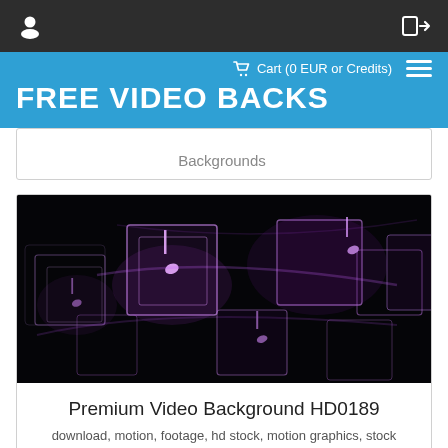Cart (0 EUR or Credits)
FREE VIDEO BACKS
Backgrounds
[Figure (screenshot): Thumbnail image of Premium Video Background HD0189 — dark scene with glowing purple/pink 3D music note shapes and transparent cubes on black background]
Premium Video Background HD0189
download, motion, footage, hd stock, motion graphics, stock